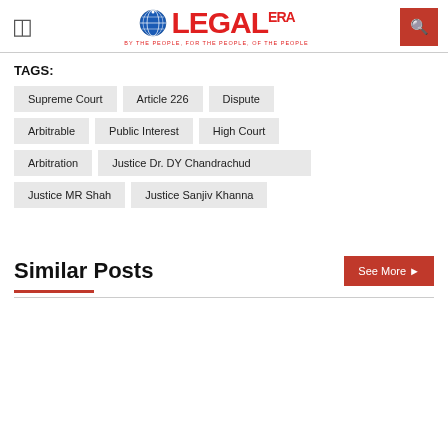Legal Era - BY THE PEOPLE, FOR THE PEOPLE, OF THE PEOPLE
TAGS: Supreme Court, Article 226, Dispute, Arbitrable, Public Interest, High Court, Arbitration, Justice Dr. DY Chandrachud, Justice MR Shah, Justice Sanjiv Khanna
Similar Posts